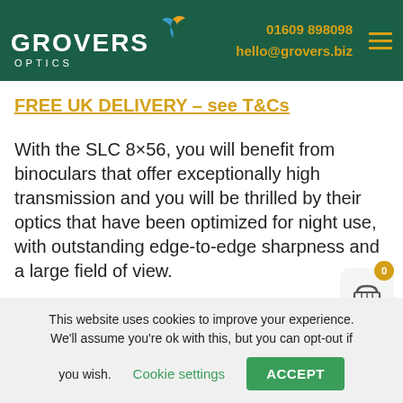GROVERS OPTICS | 01609 898098 | hello@grovers.biz
FREE UK DELIVERY – see T&Cs
With the SLC 8×56, you will benefit from binoculars that offer exceptionally high transmission and you will be thrilled by their optics that have been optimized for night use, with outstanding edge-to-edge sharpness and a large field of view.
This website uses cookies to improve your experience. We'll assume you're ok with this, but you can opt-out if you wish. Cookie settings ACCEPT